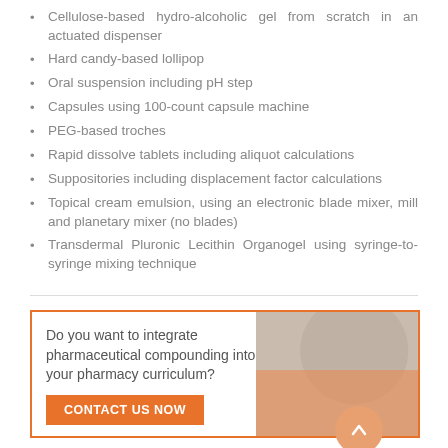Cellulose-based hydro-alcoholic gel from scratch in an actuated dispenser
Hard candy-based lollipop
Oral suspension including pH step
Capsules using 100-count capsule machine
PEG-based troches
Rapid dissolve tablets including aliquot calculations
Suppositories including displacement factor calculations
Topical cream emulsion, using an electronic blade mixer, mill and planetary mixer (no blades)
Transdermal Pluronic Lecithin Organogel using syringe-to-syringe mixing technique
Do you want to integrate pharmaceutical compounding into your pharmacy curriculum?
CONTACT US NOW